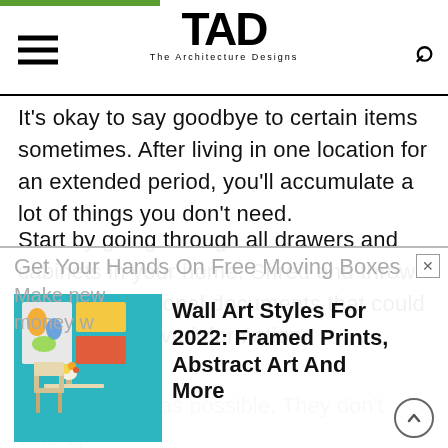TAD – The Architecture Designs
It's okay to say goodbye to certain items sometimes. After living in one location for an extended period, you'll accumulate a lot of things you don't need.
Start by going through all drawers and cabinets in your home. Shred and throw away any personal documents that could contain sensitive information.
Get Your Hands On Free Moving Boxes
Make new money with as many free moving boxes as possible. They don't take up much space so the more the better.
[Figure (screenshot): Advertisement overlay showing wall art with text: Wall Art Styles For 2022: Framed Prints, Abstract Art And More]
Wall Art Styles For 2022: Framed Prints, Abstract Art And More